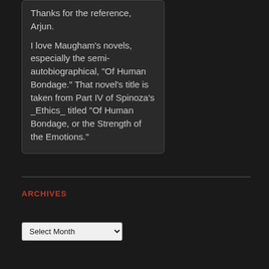Thanks for the reference, Arjun.

I love Maugham's novels, especially the semi-autobiographical, "Of Human Bondage." That novel's title is taken from Part IV of Spinoza's _Ethics_ titled "Of Human Bondage, or the Strength of the Emotions."
ARCHIVES
[Figure (screenshot): A dropdown/select UI element labeled 'Select Month']